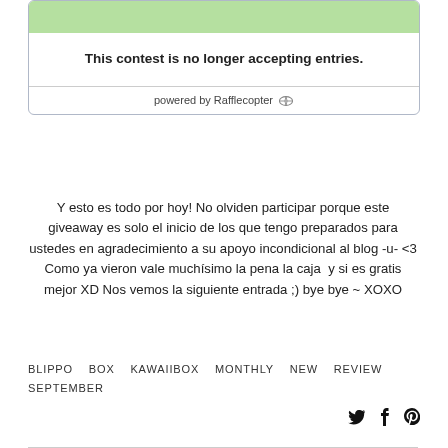[Figure (screenshot): Rafflecopter giveaway widget showing a green bar at top and the message 'This contest is no longer accepting entries.' with 'powered by Rafflecopter' footer.]
Y esto es todo por hoy! No olviden participar porque este giveaway es solo el inicio de los que tengo preparados para ustedes en agradecimiento a su apoyo incondicional al blog -u- <3 Como ya vieron vale muchísimo la pena la caja  y si es gratis mejor XD Nos vemos la siguiente entrada ;) bye bye ~ XOXO
BLIPPO   BOX   KAWAIIBOX   MONTHLY   NEW   REVIEW   SEPTEMBER